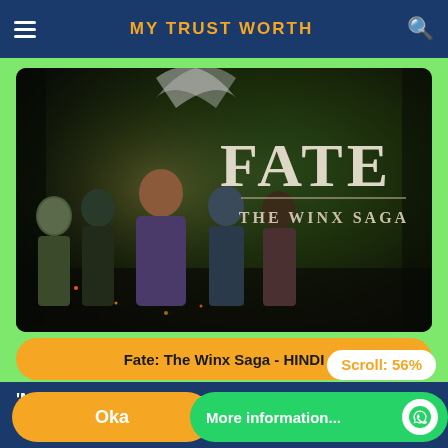MY TRUST WORTH
[Figure (photo): Promotional image for 'Fate: The Winx Saga' Netflix series showing five young women in fantasy/adventure attire in a forest setting, with large white serif text reading 'FATE THE WINX SAGA' on the right side]
Fate: The Winx Saga - HINDI
Scroll: 56%
'My Trust Worth' uses cookies to ensure you get the best experience on our website.
Okay
More information...